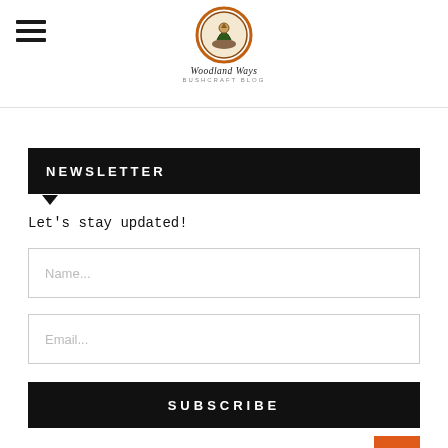Woodland Ways - Bushcraft Blog
NEWSLETTER
Let's stay updated!
Name...
Email...
SUBSCRIBE
RECENT POSTS